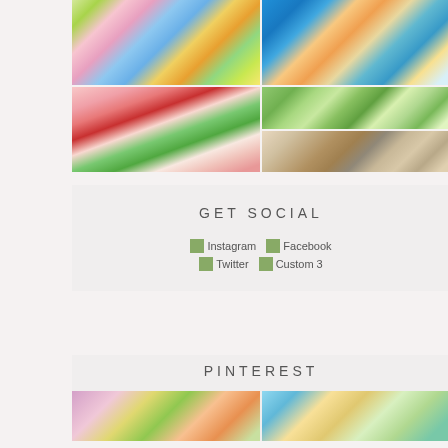[Figure (photo): 2x2 grid of photos: top-left shows a colorful floral painting with wildflowers; top-right shows a blue background fabric with pink and yellow flowers; bottom-left shows a pink strawberry pattern fabric; bottom-right split into two: top is a greenhouse/garden photo, bottom is a workshop/crafting photo]
GET SOCIAL
[Figure (infographic): Social media icon buttons: Instagram, Facebook, Twitter, Custom 3 - shown as broken image placeholders]
PINTEREST
[Figure (photo): Two Pinterest image thumbnails side by side - left shows floral painting, right shows blue floral fabric pattern]